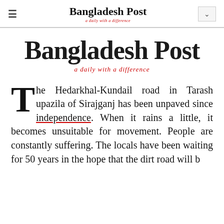Bangladesh Post — a daily with a difference
[Figure (logo): Large Bangladesh Post masthead logo with blackletter font and red italic tagline 'a daily with a difference']
The Hedarkhal-Kundail road in Tarash upazila of Sirajganj has been unpaved since independence. When it rains a little, it becomes unsuitable for movement. People are constantly suffering. The locals have been waiting for 50 years in the hope that the dirt road will b